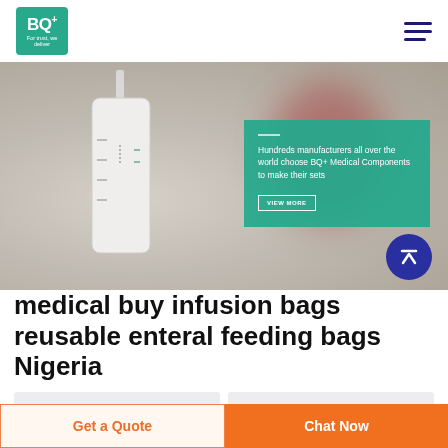[Figure (logo): BQ+ logo with green background and tagline 'For trust, we deliver']
[Figure (photo): Medical equipment photo: blurred close-up of a medical cylinder/tube with measurement markings, red background element, and a teal overlay box reading 'Hundreds manufacturers all over the world choose BQ+ Medical Components to make their sets' with VIEW MORE button. Blue circular scroll-to-top arrow button in bottom right.]
medical buy infusion bags reusable enteral feeding bags Nigeria
[Figure (other): Two input form fields (light gray background)]
Get a Quote
Chat Now